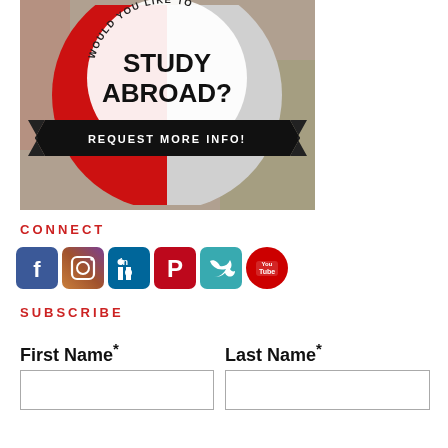[Figure (illustration): A circular location pin graphic with red and gray halves. Curved text reads 'WOULD YOU LIKE TO' at the top. Large bold text 'STUDY ABROAD?' in center. A black banner ribbon across the middle reads 'REQUEST MORE INFO!' in white letters. Background shows blurred building exterior.]
CONNECT
[Figure (infographic): Row of six social media icons: Facebook (blue rounded square), Instagram (gradient rounded square), LinkedIn (dark blue rounded square), Pinterest (red rounded square), Twitter (teal rounded square), YouTube (red circle).]
SUBSCRIBE
First Name*
Last Name*